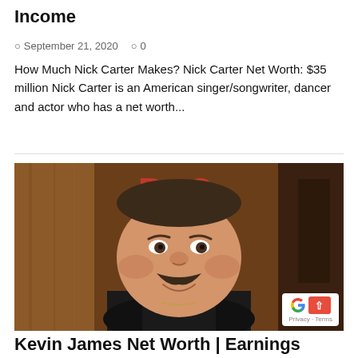Income
September 21, 2020  0
How Much Nick Carter Makes? Nick Carter Net Worth: $35 million Nick Carter is an American singer/songwriter, dancer and actor who has a net worth...
[Figure (photo): A man with a mustache wearing a black shirt, smiling, with a TV studio background showing the letters BC in red]
Kevin James Net Worth | Earnings